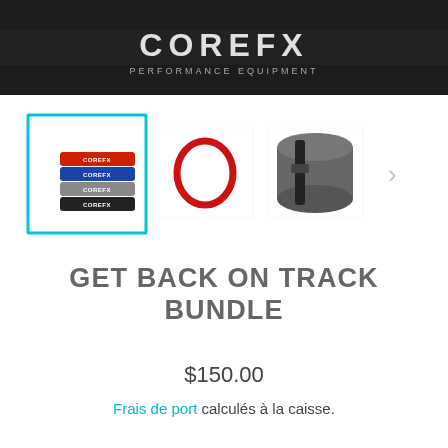[Figure (photo): Top banner showing COREFX branded packaging/product in dark background]
[Figure (photo): Product thumbnail gallery: selected thumbnail shows COREFX resistance loop bands (red, blue, grey, black) with cyan border; second thumbnail shows a red resistance band loop; third thumbnail shows a rolled grey exercise mat; right arrow navigation button]
GET BACK ON TRACK BUNDLE
$150.00
Frais de port calculés à la caisse.